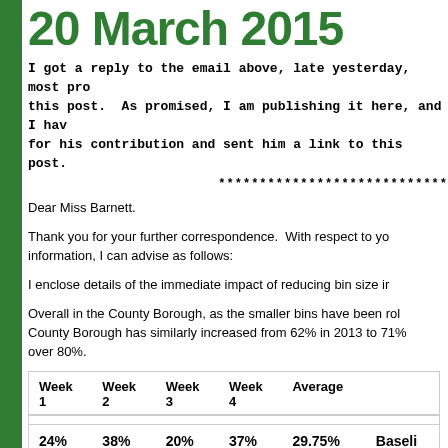20 March 2015
I got a reply to the email above, late yesterday, most probably after reading this post. As promised, I am publishing it here, and I have thanked him for his contribution and sent him a link to this post.
****************************
Dear Miss Barnett.
Thank you for your further correspondence. With respect to your request for information, I can advise as follows:
I enclose details of the immediate impact of reducing bin size in
Overall in the County Borough, as the smaller bins have been rolled out, the County Borough has similarly increased from 62% in 2013 to 71% and some areas over 80%.
| Week 1 | Week 2 | Week 3 | Week 4 | Average |  |
| --- | --- | --- | --- | --- | --- |
| 24% | 38% | 20% | 37% | 29.75% | Baseline |
| 40% | 56% | 32% | 56% | 46% | Partic... remov... litres/ |